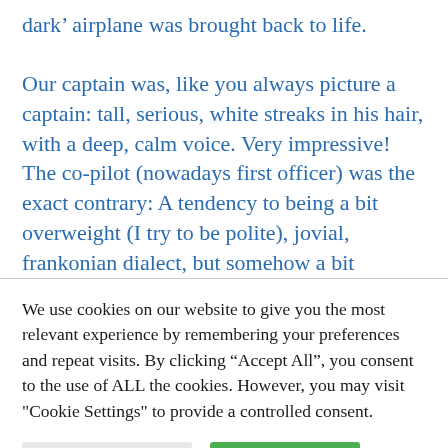dark’ airplane was brought back to life.

Our captain was, like you always picture a captain: tall, serious, white streaks in his hair, with a deep, calm voice. Very impressive! The co-pilot (nowadays first officer) was the exact contrary: A tendency to being a bit overweight (I try to be polite), jovial, frankonian dialect, but somehow a bit unpleasantly importunate, a
We use cookies on our website to give you the most relevant experience by remembering your preferences and repeat visits. By clicking “Accept All”, you consent to the use of ALL the cookies. However, you may visit "Cookie Settings" to provide a controlled consent.